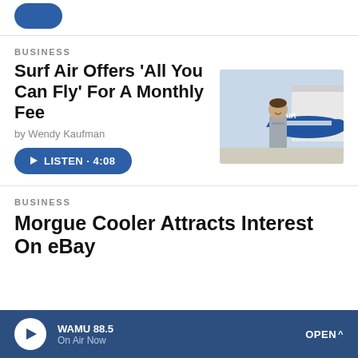[Figure (other): Partial blue rounded button at top of page]
BUSINESS
Surf Air Offers 'All You Can Fly' For A Monthly Fee
by Wendy Kaufman
[Figure (photo): A man standing in front of a blue and white small aircraft at an airport hangar]
[Figure (other): Listen button with play icon, reading LISTEN · 4:08]
BUSINESS
Morgue Cooler Attracts Interest On eBay
[Figure (other): Bottom media player bar showing WAMU 88.5, On Air Now, and OPEN button]